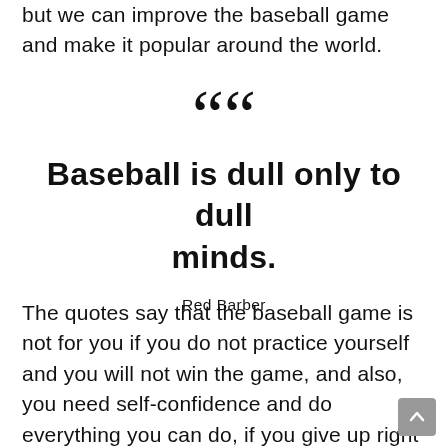but we can improve the baseball game and make it popular around the world.
[Figure (other): Large decorative opening quotation marks]
Baseball is dull only to dull minds.
Red Barber
The quotes say that the baseball game is not for you if you do not practice yourself and you will not win the game, and also, you need self-confidence and do everything you can do, if you give up right away nothing should happen to you so bring it the best for